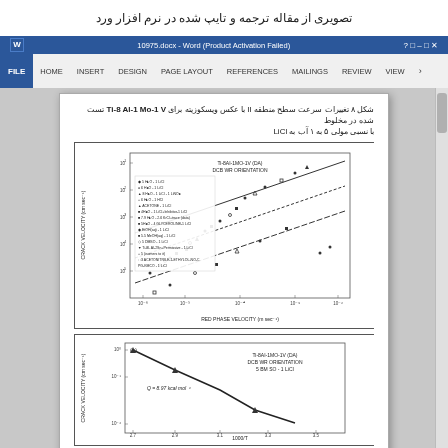تصویری از مقاله ترجمه و تایپ شده در نرم افزار ورد
شکل ۸ تغییرات سرعت سطح منطقه II با عکس ویسکوزیته برای Ti-8 Al-1 Mo-1 V تست شده در مخلوط با نسبی مولی ۵ به ۱ آب به LiCl
[Figure (scatter-plot): Log-log scatter plot showing crack velocity vs red phase velocity with multiple data series and parallel trend lines]
[Figure (continuous-plot): Arrhenius plot showing crack velocity vs 1000/T with Q = 8.97 kcal mol⁻¹]